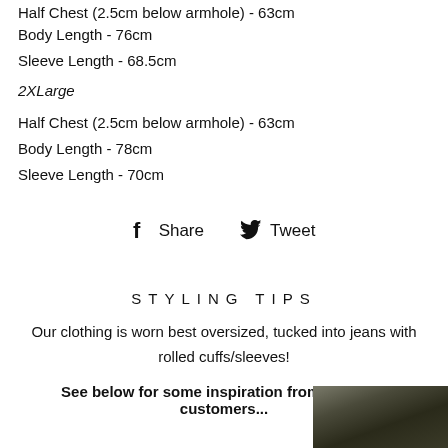Half Chest (2.5cm below armhole) - 63cm
Body Length - 76cm
Sleeve Length - 68.5cm
2XLarge
Half Chest (2.5cm below armhole) - 63cm
Body Length - 78cm
Sleeve Length - 70cm
Share  Tweet
STYLING TIPS
Our clothing is worn best oversized, tucked into jeans with rolled cuffs/sleeves!
See below for some inspiration from previous customers...
[Figure (photo): Partial photo of a person visible in the bottom-right corner]